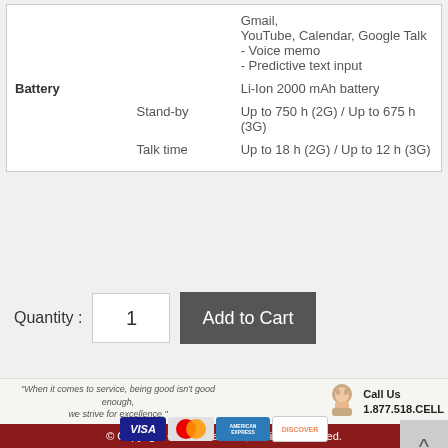Gmail, YouTube, Calendar, Google Talk
- Voice memo
- Predictive text input
Battery
Li-Ion 2000 mAh battery
Stand-by
Up to 750 h (2G) / Up to 675 h (3G)
Talk time
Up to 18 h (2G) / Up to 12 h (3G)
Quantity : 1
Add to Cart
"When it comes to service, being good isn't good enough, we strive for excellence."
Call Us
1.877.518.CELL
© Copyright © Cell2Get.com, All rights reserved.